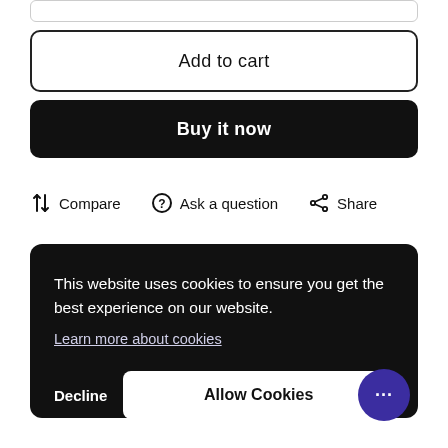Add to cart
Buy it now
Compare
Ask a question
Share
This website uses cookies to ensure you get the best experience on our website.
Learn more about cookies
Decline
Allow Cookies